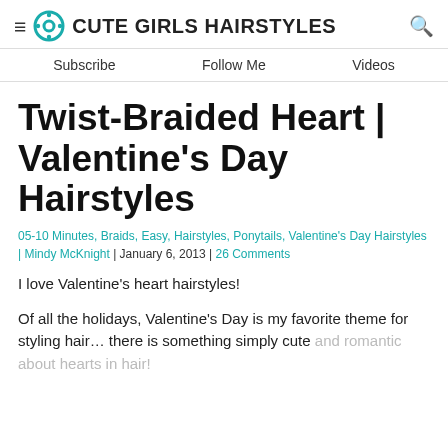≡ ✿ CUTE GIRLS HAIRSTYLES 🔍
Subscribe   Follow Me   Videos
Twist-Braided Heart | Valentine's Day Hairstyles
05-10 Minutes, Braids, Easy, Hairstyles, Ponytails, Valentine's Day Hairstyles | Mindy McKnight | January 6, 2013 | 26 Comments
I love Valentine's heart hairstyles!
Of all the holidays, Valentine's Day is my favorite theme for styling hair… there is something simply cute and romantic about hearts in hair!